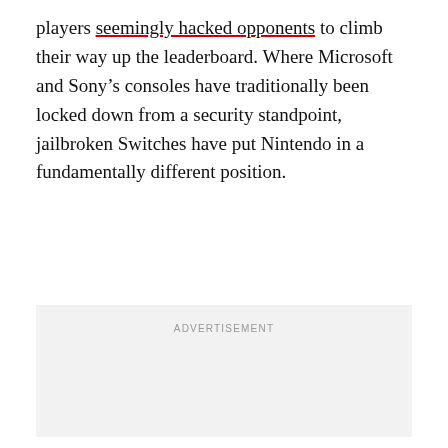players seemingly hacked opponents to climb their way up the leaderboard. Where Microsoft and Sony’s consoles have traditionally been locked down from a security standpoint, jailbroken Switches have put Nintendo in a fundamentally different position.
[Figure (other): Advertisement placeholder box with light gray background and centered 'ADVERTISEMENT' label text]